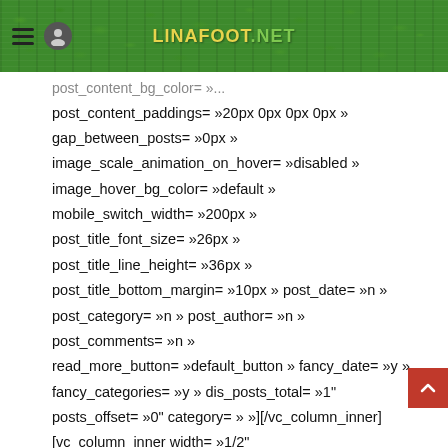LINAFOOT.NET - website header with grass background
post_content_paddings= »20px 0px 0px 0px »
gap_between_posts= »0px »
image_scale_animation_on_hover= »disabled »
image_hover_bg_color= »default »
mobile_switch_width= »200px »
post_title_font_size= »26px »
post_title_line_height= »36px »
post_title_bottom_margin= »10px » post_date= »n »
post_category= »n » post_author= »n »
post_comments= »n »
read_more_button= »default_button » fancy_date= »y »
fancy_categories= »y » dis_posts_total= »1"
posts_offset= »0" category= » »][/vc_column_inner]
[vc_column_inner width= »1/2"
css= ».vc_custom_1560954145905{padding-bottom: 50px